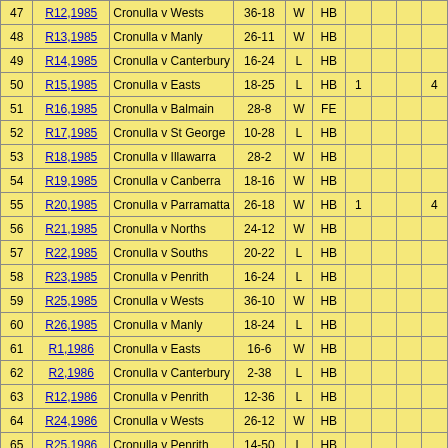| # | Ref | Match | Score | W/L | Pos |  |  |  |  |
| --- | --- | --- | --- | --- | --- | --- | --- | --- | --- |
| 47 | R12,1985 | Cronulla v Wests | 36-18 | W | HB |  |  |  |  |
| 48 | R13,1985 | Cronulla v Manly | 26-11 | W | HB |  |  |  |  |
| 49 | R14,1985 | Cronulla v Canterbury | 16-24 | L | HB |  |  |  |  |
| 50 | R15,1985 | Cronulla v Easts | 18-25 | L | HB | 1 |  |  | 4 |
| 51 | R16,1985 | Cronulla v Balmain | 28-8 | W | FE |  |  |  |  |
| 52 | R17,1985 | Cronulla v St George | 10-28 | L | HB |  |  |  |  |
| 53 | R18,1985 | Cronulla v Illawarra | 28-2 | W | HB |  |  |  |  |
| 54 | R19,1985 | Cronulla v Canberra | 18-16 | W | HB |  |  |  |  |
| 55 | R20,1985 | Cronulla v Parramatta | 26-18 | W | HB | 1 |  |  | 4 |
| 56 | R21,1985 | Cronulla v Norths | 24-12 | W | HB |  |  |  |  |
| 57 | R22,1985 | Cronulla v Souths | 20-22 | L | HB |  |  |  |  |
| 58 | R23,1985 | Cronulla v Penrith | 16-24 | L | HB |  |  |  |  |
| 59 | R25,1985 | Cronulla v Wests | 36-10 | W | HB |  |  |  |  |
| 60 | R26,1985 | Cronulla v Manly | 18-24 | L | HB |  |  |  |  |
| 61 | R1,1986 | Cronulla v Easts | 16-6 | W | HB |  |  |  |  |
| 62 | R2,1986 | Cronulla v Canterbury | 2-38 | L | HB |  |  |  |  |
| 63 | R12,1986 | Cronulla v Penrith | 12-36 | L | HB |  |  |  |  |
| 64 | R24,1986 | Cronulla v Wests | 26-12 | W | HB |  |  |  |  |
| 65 | R25,1986 | Cronulla v Penrith | 14-50 | L | HB |  |  |  |  |
| 66 | R26,1986 | Cronulla v Norths | 10-17 | L | HB | 1 |  |  | 4 |
| 67 | R13,1987 | Cronulla v Illawarra | 32-12 | W | BE |  |  |  |  |
| 68 | R18,1987 | Cronulla v Penrith | 28-18 | W | BE |  |  |  |  |